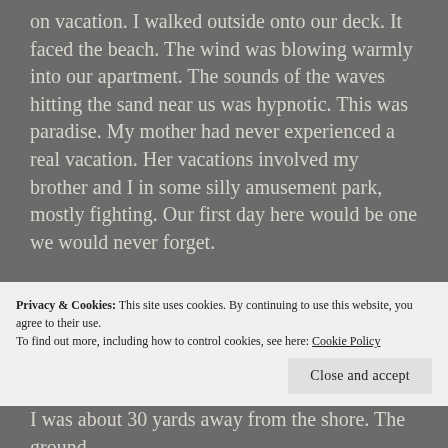on vacation. I walked outside onto our deck. It faced the beach. The wind was blowing warmly into our apartment. The sounds of the waves hitting the sand near us was hypnotic. This was paradise. My mother had never experienced a real vacation. Her vacations involved my brother and I in some silly amusement park, mostly fighting. Our first day here would be one we would never forget.

My mother and I got dressed in our bathing suits. I hadn't seen my mother wear one since I was a little girl. She hated the water. That included pools. They scared
Privacy & Cookies: This site uses cookies. By continuing to use this website, you agree to their use.
To find out more, including how to control cookies, see here: Cookie Policy
I was about 30 yards away from the shore. The ground